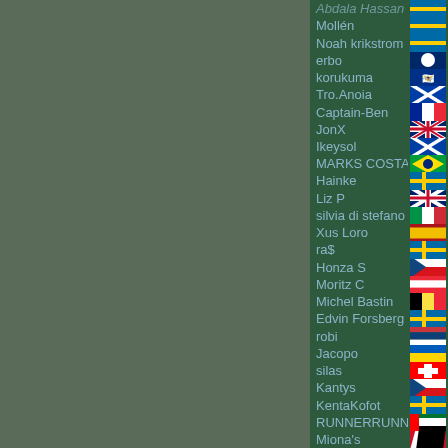Mollén
Noah krikstrom
erbo
korukuma
Tro.Anoia
Captain-Ben
JonX
Ikeysol
MARKS COSTA DA SILVA
Hainke
Liz P
silvia di stefano
Xus Loro
ra$
Honza S
Moritz C
Michel Bastin
Edvin Forsberg
robi
Jacopo
silas
Kantys
KentaKofot
RUNNERRUNNER
Miona's